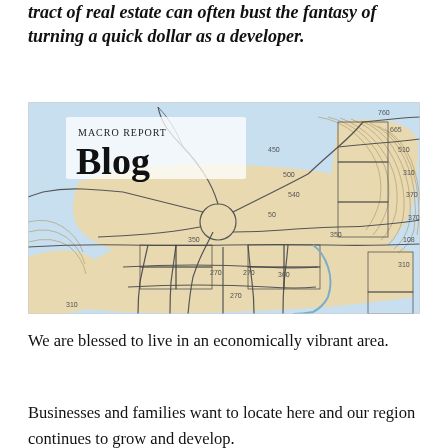tract of real estate can often bust the fantasy of turning a quick dollar as a developer.
[Figure (map): Topographic parcel map showing subdivided land tracts with contour lines, roads, and water features. Overlaid with 'MacRo Report Blog' logo in the upper left corner.]
We are blessed to live in an economically vibrant area.
Businesses and families want to locate here and our region continues to grow and develop.